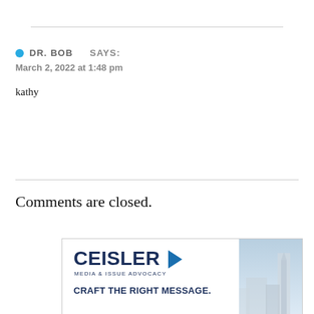DR. BOB   SAYS:
March 2, 2022 at 1:48 pm
kathy
Comments are closed.
[Figure (other): Ceisler Media & Issue Advocacy advertisement with logo (blue CEISLER with arrow) and text 'CRAFT THE RIGHT MESSAGE.' alongside a photo of a building/skyline]